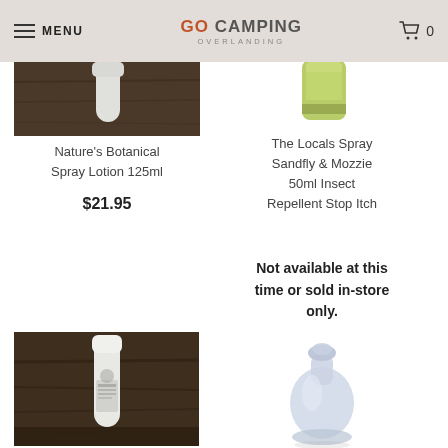MENU | GO CAMPING OVERLANDING | 0
[Figure (photo): Partially visible product photo of Nature's Botanical Spray Lotion on a dark wooden surface]
Nature's Botanical Spray Lotion 125ml
$21.95
[Figure (photo): Partially visible product image of green cylindrical can - The Locals Spray]
The Locals Spray Sandfly & Mozzie 50ml Insect Repellent Stop Itch
Not available at this time or sold in-store only.
[Figure (photo): Photo of a white spray bottle with label on dark wood background - Nature's Botanical]
[Figure (photo): Illustration/photo of a clear translucent silicone travel bottle]
Humangear